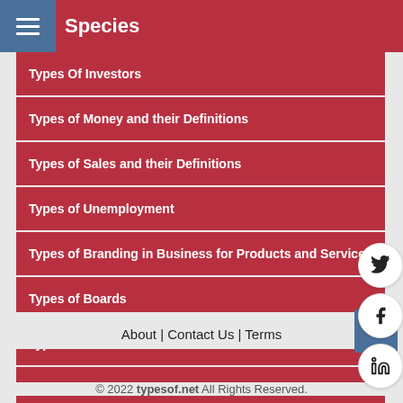Species
Types Of Investors
Types of Money and their Definitions
Types of Sales and their Definitions
Types of Unemployment
Types of Branding in Business for Products and Services
Types of Boards
Types of Headaches
Types of Motivation with Definitions
About | Contact Us | Terms
© 2022 typesof.net All Rights Reserved.